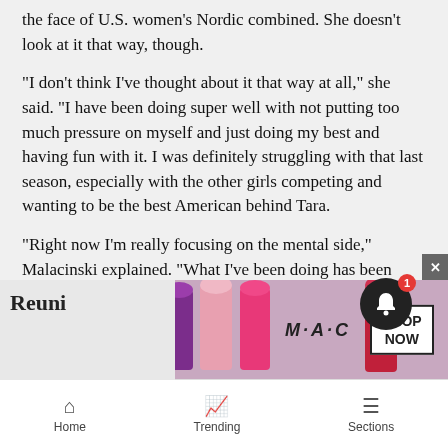the face of U.S. women's Nordic combined. She doesn't look at it that way, though.
“I don’t think I’ve thought about it that way at all,” she said. “I have been doing super well with not putting too much pressure on myself and just doing my best and having fun with it. I was definitely struggling with that last season, especially with the other girls competing and wanting to be the best American behind Tara.
“Right now I’m really focusing on the mental side,” Malacinski explained. “What I’ve been doing has been working amazingly. Right now, I’m trying to have fun in a sport that I love.”
Reuni...
[Figure (photo): MAC cosmetics advertisement showing lipsticks in purple, pink, and red with MAC logo and SHOP NOW button]
Home   Trending   Sections